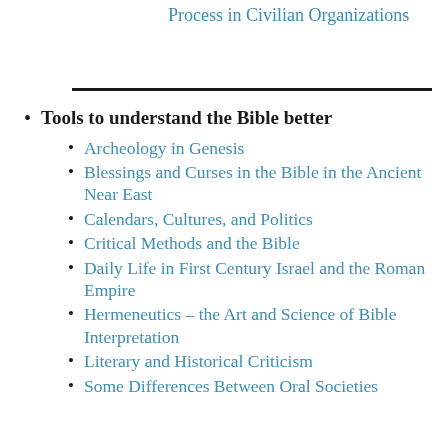Process in Civilian Organizations
Tools to understand the Bible better
Archeology in Genesis
Blessings and Curses in the Bible in the Ancient Near East
Calendars, Cultures, and Politics
Critical Methods and the Bible
Daily Life in First Century Israel and the Roman Empire
Hermeneutics – the Art and Science of Bible Interpretation
Literary and Historical Criticism
Some Differences Between Oral Societies